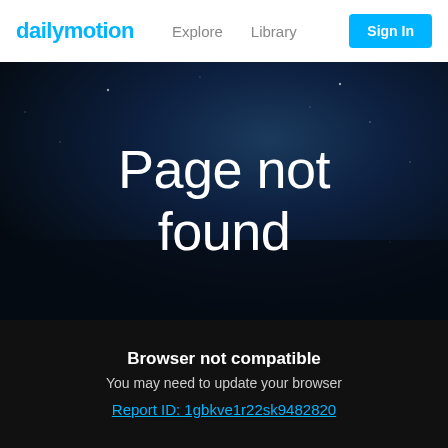dailymotion  Explore  Library  Sign In
[Figure (screenshot): Dailymotion 404 error page with dark starry night sky background showing 'Page not found' in large white text]
Page not found
Browser not compatible
You may need to update your browser
Report ID: 1gbkve1r22sk9482820